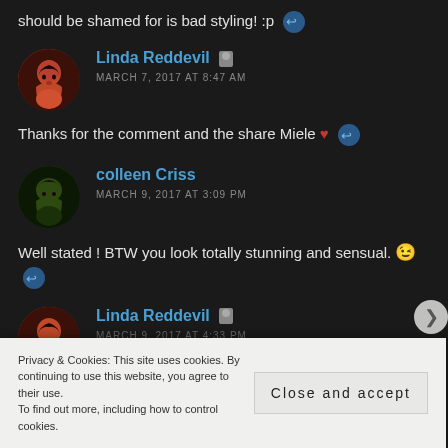should be shamed for is bad styling! :p
Linda Reddevil
MARCH 7, 2017 AT 8:47 AM
Thanks for the comment and the share Miele ♥
colleen Criss
MARCH 9, 2017 AT 3:09 PM
Well stated ! BTW you look totally stunning and sensual. 😉
Linda Reddevil
Privacy & Cookies: This site uses cookies. By continuing to use this website, you agree to their use.
To find out more, including how to control cookies.
Close and accept